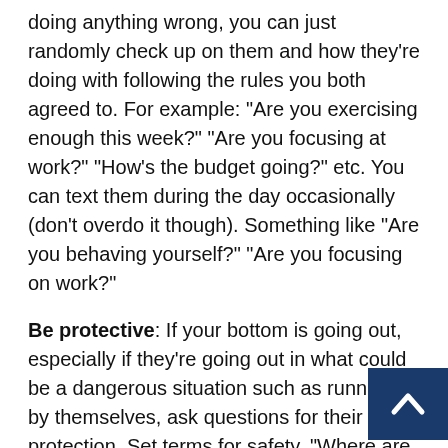doing anything wrong, you can just randomly check up on them and how they're doing with following the rules you both agreed to. For example: "Are you exercising enough this week?" "Are you focusing at work?" "How's the budget going?" etc. You can text them during the day occasionally (don't overdo it though). Something like "Are you behaving yourself?" "Are you focusing on work?"
Be protective: If your bottom is going out, especially if they're going out in what could be a dangerous situation such as running by themselves, ask questions for their protection. Set terms for safety. "Where are you going" "when will you be back" are good ones, with the caveat that if they for any reason get